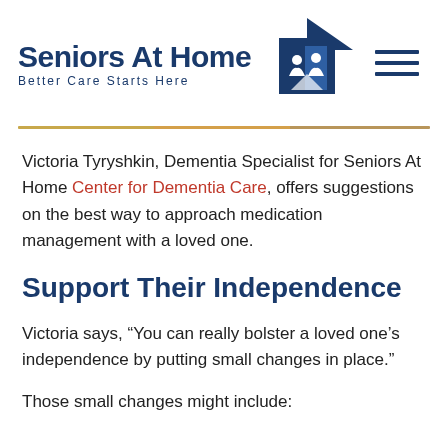[Figure (logo): Seniors At Home logo with tagline 'Better Care Starts Here', a house icon with figures inside, and a hamburger menu icon]
Victoria Tyryshkin, Dementia Specialist for Seniors At Home Center for Dementia Care, offers suggestions on the best way to approach medication management with a loved one.
Support Their Independence
Victoria says, “You can really bolster a loved one’s independence by putting small changes in place.”
Those small changes might include: